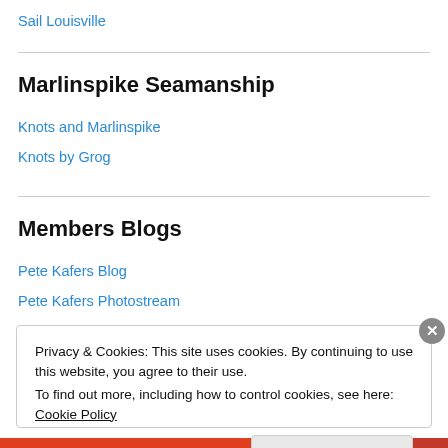Sail Louisville
Marlinspike Seamanship
Knots and Marlinspike
Knots by Grog
Members Blogs
Pete Kafers Blog
Pete Kafers Photostream
Privacy & Cookies: This site uses cookies. By continuing to use this website, you agree to their use. To find out more, including how to control cookies, see here: Cookie Policy
Close and accept